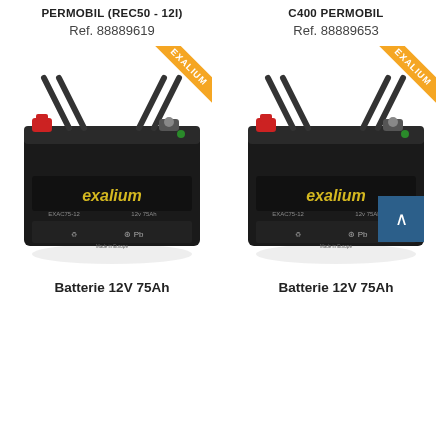PERMOBIL (REC50 - 12I)
Ref. 88889619
[Figure (photo): Exalium 12V 75Ah battery with handle straps, black casing with yellow exalium logo and Pb recycling symbol, orange EXALIUM corner badge]
Batterie 12V 75Ah
C400 PERMOBIL
Ref. 88889653
[Figure (photo): Exalium 12V 75Ah battery with handle straps, black casing with yellow exalium logo and Pb recycling symbol, orange EXALIUM corner badge, with blue scroll-to-top button overlay]
Batterie 12V 75Ah